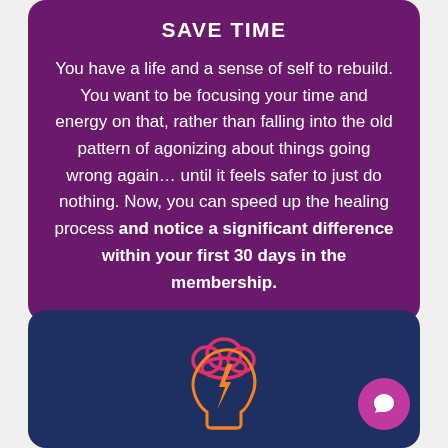SAVE TIME
You have a life and a sense of self to rebuild. You want to be focusing your time and energy on that, rather than falling into the old pattern of agonizing about things going wrong again… until it feels safer to just do nothing. Now, you can speed up the healing process and notice a significant difference within your first 30 days in the membership.
[Figure (illustration): Icon of a human head with a lightning bolt and brain/cloud graphic in orange and pink colors]
REDUCE STRESS, ANXIETY AND